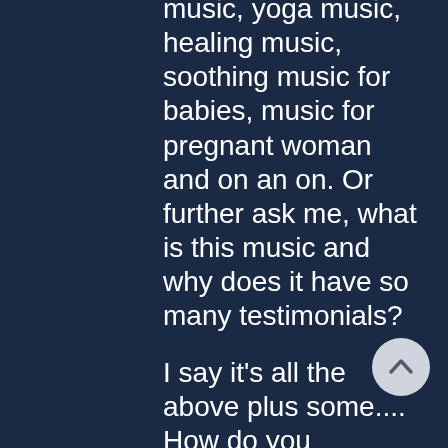music, yoga music, healing music, soothing music for babies, music for pregnant woman and on an on. Or further ask me, what is this music and why does it have so many testimonials?
I say it's all the above plus some.... How do you measure Infinity? How do you measure Love? How do you measure Life? How do you measure Soul? How do you measure Consciousness?
Hmmmmm.... all good questions...